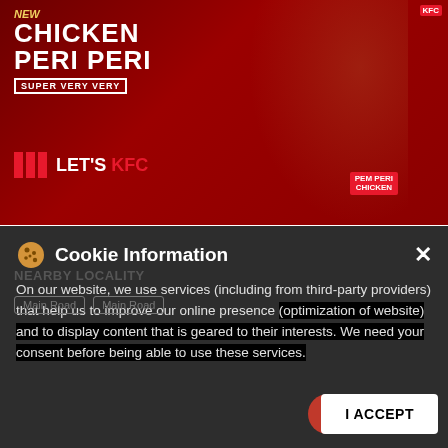[Figure (photo): KFC advertisement banner showing a man eating fried chicken with text 'New Chicken Peri Peri Super Very Very Let's KFC' on a red background, with KFC logo. Shows 'NEAREST KFC 100m' arrow and red square thumbnails below. Android and Apple app download buttons visible on right side.]
Cookie Information
On our website, we use services (including from third-party providers) that help us to improve our online presence (optimization of website) and to display content that is geared to their interests. We need your consent before being able to use these services.
I ACCEPT